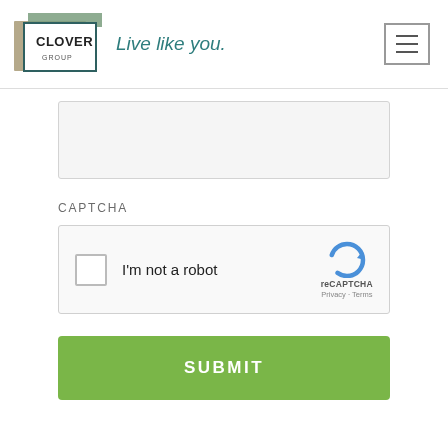[Figure (logo): Clover Group logo with tagline 'Live like you.' and hamburger menu icon]
[Figure (screenshot): Empty text area input field with light gray background]
CAPTCHA
[Figure (screenshot): reCAPTCHA widget with checkbox labeled 'I'm not a robot' and reCAPTCHA logo with Privacy and Terms links]
SUBMIT